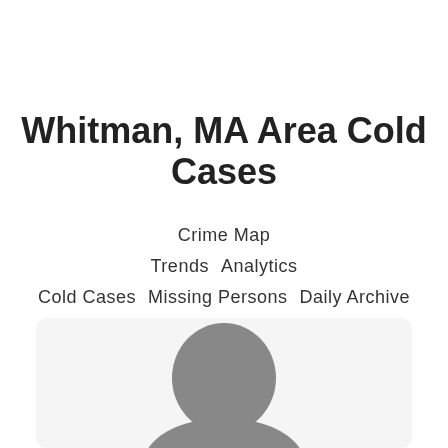Whitman, MA Area Cold Cases
Crime Map
Trends   Analytics
Cold Cases   Missing Persons   Daily Archive
[Figure (photo): Grayscale silhouette/placeholder image of a person's head and shoulders, shown inside a rounded card at the bottom of the page]